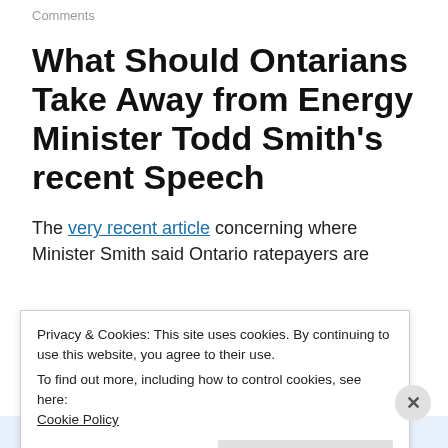Comments
What Should Ontarians Take Away from Energy Minister Todd Smith’s recent Speech
The very recent article concerning where Minister Smith said Ontario ratepayers are
Privacy & Cookies: This site uses cookies. By continuing to use this website, you agree to their use.
To find out more, including how to control cookies, see here:
Cookie Policy
Close and accept